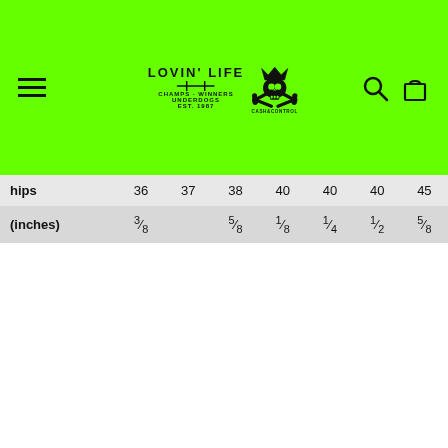[Figure (logo): Lovin' Life brand logo with skull and crossbones Cash&Control logo on green background navigation header with hamburger menu, search icon, and shopping bag icon]
| hips | 36 | 37 | 38 | 40 | 40 | 40 | 45 |
| (inches) | 3/8 |  | 5/8 | 1/8 | 1/4 | 1/2 | 5/8 |